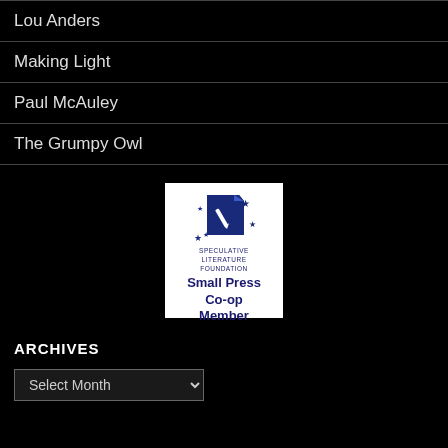Lou Anders
Making Light
Paul McAuley
The Grumpy Owl
[Figure (logo): Speculative Literature Foundation Small Press Co-op Member badge with dark blue logo and stars on white background]
ARCHIVES
Select Month